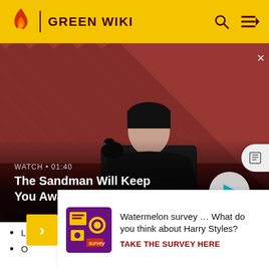GREEN WIKI
[Figure (screenshot): Video banner showing a dark-cloaked figure with a raven on shoulder against a red and dark diagonal striped background. Show title 'The Sandman Will Keep You Awake - The Loop'. Watch duration label '01:40'. Play button on right.]
WATCH • 01:40
The Sandman Will Keep You Awake - The Loop
List of organic gardening and farming topics
O
O
M
O
Watermelon survey … What do you think about Harry Styles?
TAKE THE SURVEY HERE